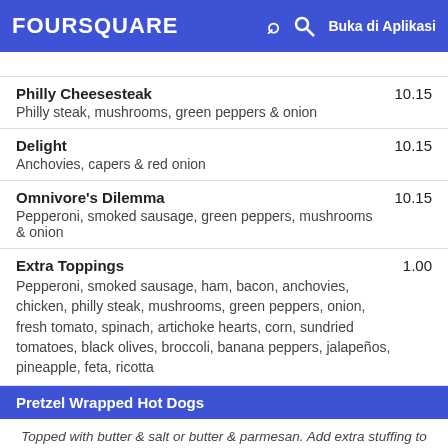FOURSQUARE  Buka di Aplikasi
(partial cut-off item)
Philly Cheesesteak  10.15
Philly steak, mushrooms, green peppers & onion
Delight  10.15
Anchovies, capers & red onion
Omnivore's Dilemma  10.15
Pepperoni, smoked sausage, green peppers, mushrooms & onion
Extra Toppings  1.00
Pepperoni, smoked sausage, ham, bacon, anchovies, chicken, philly steak, mushrooms, green peppers, onion, fresh tomato, spinach, artichoke hearts, corn, sundried tomatoes, black olives, broccoli, banana peppers, jalapeños, pineapple, feta, ricotta
Pretzel Wrapped Hot Dogs
Topped with butter & salt or butter & parmesan. Add extra stuffing to any dog ($0.73): Relish, sauerkraut, pepperoni, smoked sausage, ham, bacon, anchovies, chicken, philly steak, mushrooms, green peppers, onion, fresh tomato, spinach, artichoke hearts, corn, sundried tomatoes, black olives, broccoli, banana peppers, jalapeños, pineapple, feta, ricotta